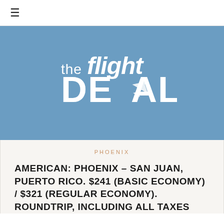≡
[Figure (logo): The Flight Deal logo — stylized text reading 'the flight DEAL' in white on a steel blue background, with an airplane silhouette integrated into the letter A of DEAL]
PHOENIX
AMERICAN: PHOENIX – SAN JUAN, PUERTO RICO. $241 (BASIC ECONOMY) / $321 (REGULAR ECONOMY). ROUNDTRIP, INCLUDING ALL TAXES